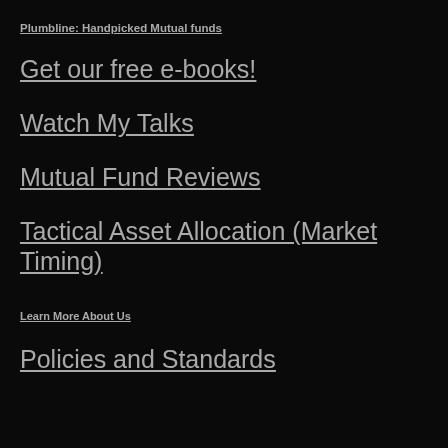Plumbline: Handpicked Mutual funds
Get our free e-books!
Watch My Talks
Mutual Fund Reviews
Tactical Asset Allocation (Market Timing)
Learn More About Us
Policies and Standards